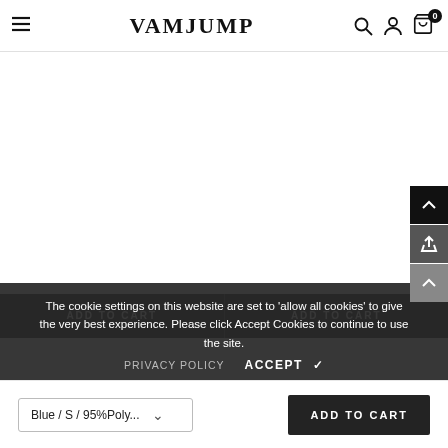VAMJUMP
[Figure (screenshot): White empty product image area]
The cookie settings on this website are set to 'allow all cookies' to give the very best experience. Please click Accept Cookies to continue to use the site.
ADD TO CART   ADD TO CART
PRIVACY POLICY   ACCEPT ✔
Blue / S / 95%Poly...   ADD TO CART